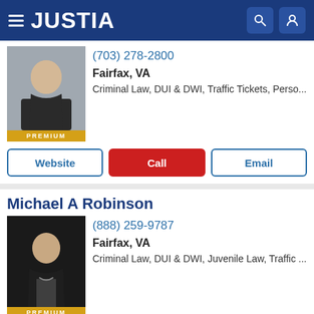JUSTIA
[Figure (photo): Professional headshot of female attorney in dark blazer]
(703) 278-2800
Fairfax, VA
Criminal Law, DUI & DWI, Traffic Tickets, Perso...
PREMIUM
Website | Call | Email
Michael A Robinson
[Figure (photo): Professional headshot of male attorney in dark suit and tie]
(888) 259-9787
Fairfax, VA
Criminal Law, DUI & DWI, Juvenile Law, Traffic ...
PREMIUM
Website | Call | Email
Gary Brooks Mims